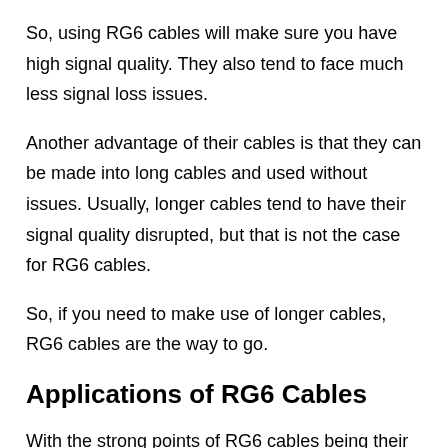So, using RG6 cables will make sure you have high signal quality. They also tend to face much less signal loss issues.
Another advantage of their cables is that they can be made into long cables and used without issues. Usually, longer cables tend to have their signal quality disrupted, but that is not the case for RG6 cables.
So, if you need to make use of longer cables, RG6 cables are the way to go.
Applications of RG6 Cables
With the strong points of RG6 cables being their ability to carry extremely high-frequency signals without loss in quality over long distances, they have some important